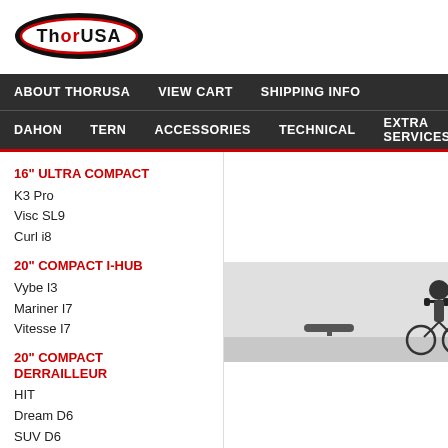[Figure (logo): ThorUSA logo — black oval with white and red stylized text 'ThorUSA']
ABOUT THORUSA   VIEW CART   SHIPPING INFO
DAHON   TERN   ACCESSORIES   TECHNICAL   EXTRA SERVICES
16" ULTRA COMPACT
K3 Pro
Visc SL9
Curl i8
20" COMPACT I-HUB
Vybe I3
Mariner I7
Vitesse I7
20" COMPACT DERRAILLEUR
HIT
Dream D6
SUV D6
Vibe D7 Tour
Piazza D7
Mariner D8
Speed D9
MU D8
Mu D9
[Figure (photo): Black and white photo of a person riding a folding bicycle, partially cropped, showing seat and handlebars with rider]